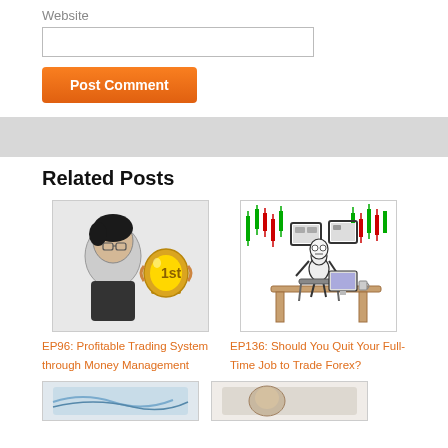Website
[Figure (screenshot): Website text input field (empty)]
[Figure (screenshot): Orange 'Post Comment' button]
Related Posts
[Figure (illustration): Cartoon caricature of a man with glasses next to a gold 1st place trophy]
EP96: Profitable Trading System through Money Management
[Figure (illustration): Sketch illustration of a skeleton sitting at a desk with forex candlestick charts on the wall]
EP136: Should You Quit Your Full-Time Job to Trade Forex?
[Figure (illustration): Partial bottom-left post thumbnail image]
[Figure (illustration): Partial bottom-right post thumbnail image]